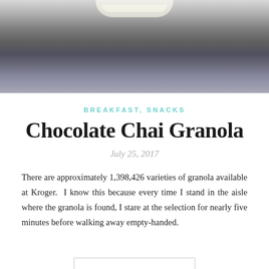[Figure (photo): Close-up photo of a bowl or dish on a dark stone/granite surface, partially cropped at top]
BREAKFAST, SNACKS
Chocolate Chai Granola
July 25, 2017
There are approximately 1,398,426 varieties of granola available at Kroger. I know this because every time I stand in the aisle where the granola is found, I stare at the selection for nearly five minutes before walking away empty-handed.